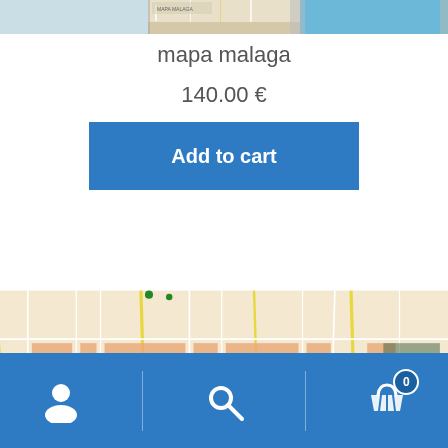[Figure (map): Top portion of mapa malaga map showing coastal/harbor area]
mapa malaga
140.00 €
Add to cart
[Figure (map): Street map of Malaga city center showing road network in orange, yellow, and white with green park areas]
User icon | Search icon | Cart icon (0)